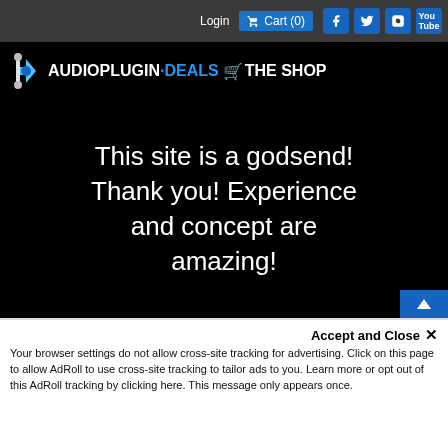Login  Cart (0)
[Figure (logo): AudioPlugin.Deals THE SHOP logo with cart icon on black background]
This site is a godsend! Thank you! Experience and concept are amazing!
Accept and Close ✕
Your browser settings do not allow cross-site tracking for advertising. Click on this page to allow AdRoll to use cross-site tracking to tailor ads to you. Learn more or opt out of this AdRoll tracking by clicking here. This message only appears once.